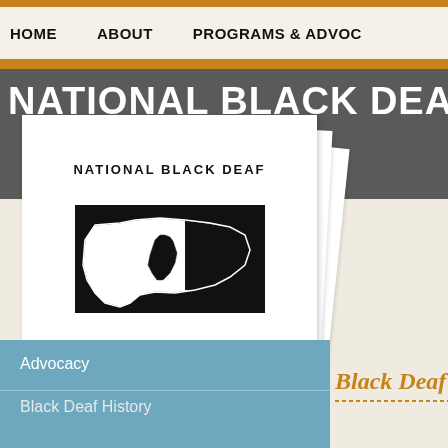HOME    ABOUT    PROGRAMS & ADVOC
NATIONAL BLACK DEAF ADV
[Figure (logo): National Black Deaf Advocates logo: text 'NATIONAL BLACK DEAF' in arc at top, outline of USA map with black silhouette and a raised fist, text 'ADVOCATES' at bottom, stacked paper effect]
Advocacy
Black Deaf History
Black Deaf Wo